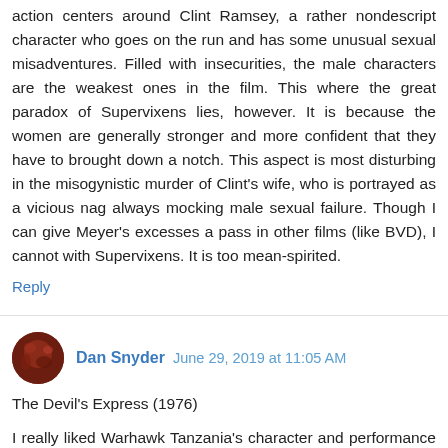action centers around Clint Ramsey, a rather nondescript character who goes on the run and has some unusual sexual misadventures. Filled with insecurities, the male characters are the weakest ones in the film. This where the great paradox of Supervixens lies, however. It is because the women are generally stronger and more confident that they have to brought down a notch. This aspect is most disturbing in the misogynistic murder of Clint's wife, who is portrayed as a vicious nag always mocking male sexual failure. Though I can give Meyer's excesses a pass in other films (like BVD), I cannot with Supervixens. It is too mean-spirited.
Reply
Dan Snyder  June 29, 2019 at 11:05 AM
The Devil's Express (1976)
I really liked Warhawk Tanzania's character and performance in this. However, I felt that the film as a whole was lacking something. The bizarre plot almost worked, it